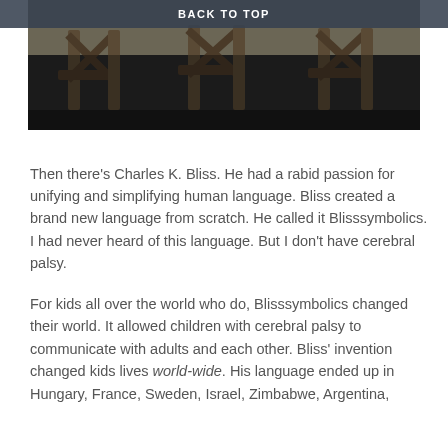BACK TO TOP
[Figure (photo): Partial photograph showing wooden structural beams or furniture legs, dark background, black and aged wood tones.]
Then there's Charles K. Bliss. He had a rabid passion for unifying and simplifying human language. Bliss created a brand new language from scratch. He called it Blisssymbolics. I had never heard of this language. But I don't have cerebral palsy.
For kids all over the world who do, Blisssymbolics changed their world. It allowed children with cerebral palsy to communicate with adults and each other. Bliss' invention changed kids lives world-wide. His language ended up in Hungary, France, Sweden, Israel, Zimbabwe, Argentina,